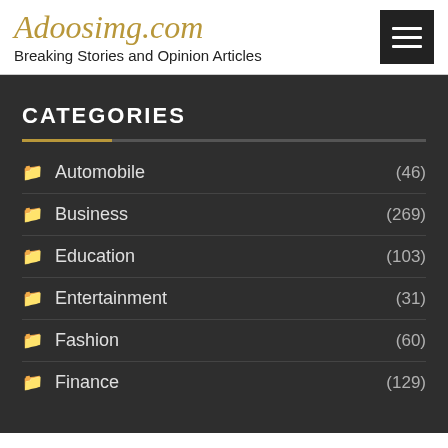Adoosimg.com — Breaking Stories and Opinion Articles
CATEGORIES
Automobile (46)
Business (269)
Education (103)
Entertainment (31)
Fashion (60)
Finance (129)